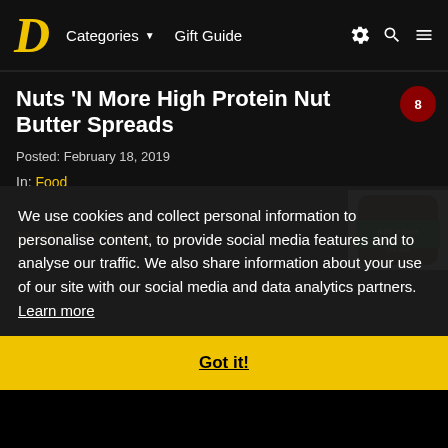D  Categories ▼  Gift Guide
Nuts 'N More High Protein Nut Butter Spreads
Posted: February 18, 2019
In: Food
We use cookies and collect personal information to personalise content, to provide social media features and to analyse our traffic. We also share information about your use of our site with our social media and data analytics partners. Learn more
Got it!
[Figure (photo): Jar of Nuts 'N More Cacao product with green label visible on right side]